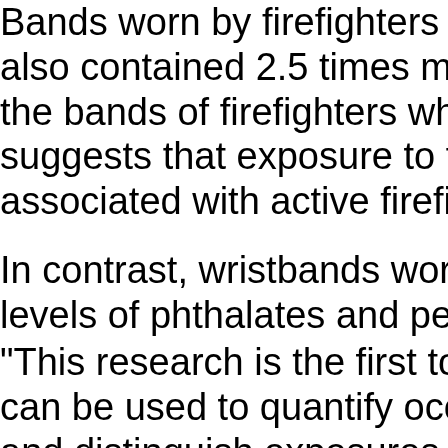Bands worn by firefighters o also contained 2.5 times mo the bands of firefighters who suggests that exposure to th associated with active firefig
In contrast, wristbands worn levels of phthalates and pes
"This research is the first to can be used to quantify occu and distinguish exposures th